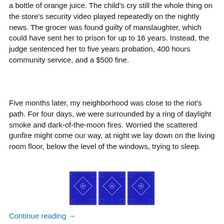a bottle of orange juice. The child's cry still the whole thing on the store's security video played repeatedly on the nightly news. The grocer was found guilty of manslaughter, which could have sent her to prison for up to 16 years. Instead, the judge sentenced her to five years probation, 400 hours community service, and a $500 fine.
Five months later, my neighborhood was close to the riot's path. For four days, we were surrounded by a ring of daylight smoke and dark-of-the-moon fires. Worried the scattered gunfire might come our way, at night we lay down on the living room floor, below the level of the windows, trying to sleep.
[Figure (illustration): Three blue decorative tiles arranged in a row, each with a diamond-shaped ornamental design in the center on a cobalt blue background.]
Continue reading →